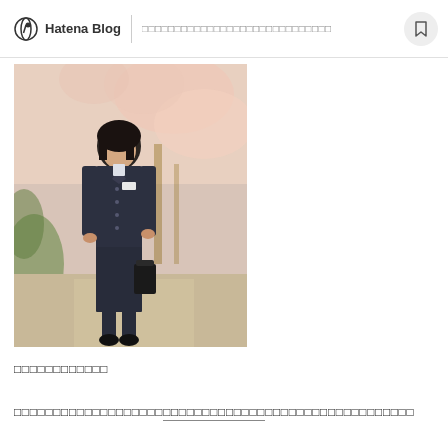Hatena Blog | □□□□□□□□□□□□□□□□□□□□□□□□□□□□□
[Figure (photo): A young Japanese girl in a dark school uniform (jacket and skirt) standing outdoors in front of cherry blossom trees, holding a black bag. The photo appears to be from the 1980s or early 1990s.]
□□□□□□□□□□□□
□□□□□□□□□□□□□□□□□□□□□□□□□□□□□□□□□□□□□□□□□□□